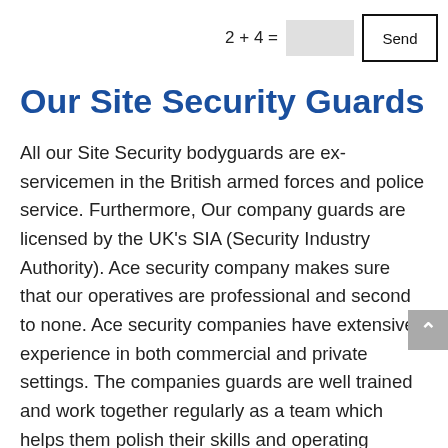2 + 4 =  [input]  Send
Our Site Security Guards
All our Site Security bodyguards are ex-servicemen in the British armed forces and police service. Furthermore, Our company guards are licensed by the UK’s SIA (Security Industry Authority). Ace security company makes sure that our operatives are professional and second to none. Ace security companies have extensive experience in both commercial and private settings. The companies guards are well trained and work together regularly as a team which helps them polish their skills and operating procedures